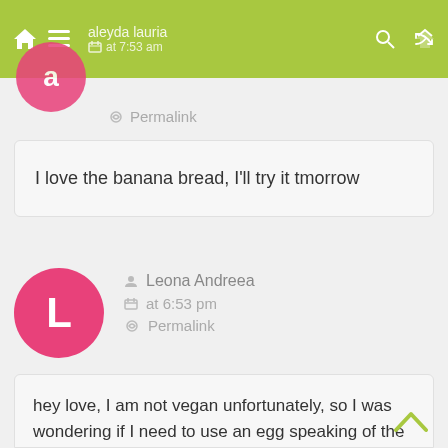aleyda lauria · at 7:53 am · Permalink
I love the banana bread, I'll try it tmorrow
Leona Andreea · at 6:53 pm · Permalink
hey love, I am not vegan unfortunately, so I was wondering if I need to use an egg speaking of the muffins? thank you!